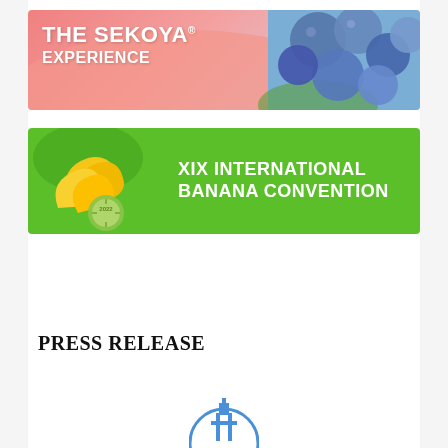[Figure (illustration): The Sekoya Experience banner ad with pink/salmon background and blueberries on the right side]
[Figure (illustration): XIX International Banana Convention 2022 banner ad with green background, bananas on left, white bold text on right]
A A A (font size controls) and social sharing icons: Twitter, Facebook, LinkedIn, WhatsApp, PDF, Print, Email
PRESS RELEASE
[Figure (logo): Partial circular logo at the bottom center of the page]